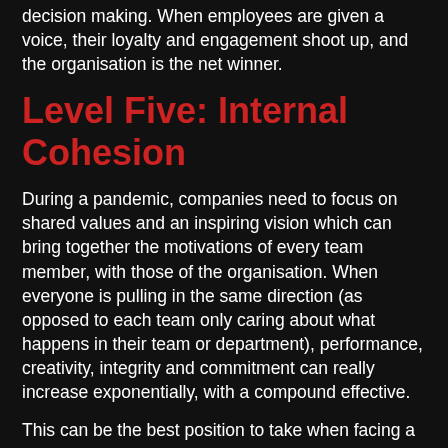decision making. When employees are given a voice, their loyalty and engagement shoot up, and the organisation is the net winner.
Level Five: Internal Cohesion
During a pandemic, companies need to focus on shared values and an inspiring vision which can bring together the motivations of every team member, with those of the organisation. When everyone is pulling in the same direction (as opposed to each team only caring about what happens in their team or department), performance, creativity, integrity and commitment can really increase exponentially, with a compound effective.
This can be the best position to take when facing a pandemic or any major crisis!
Level Six: Making a Difference
This penultimate value entails building mutually beneficial alliances with other entities or groups as well as with the